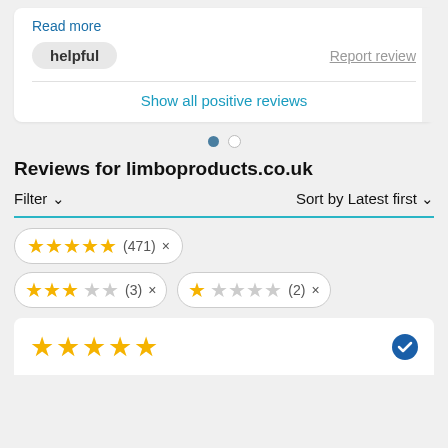Read more
helpful   Report review
Show all positive reviews
[Figure (other): Pagination dots: one filled dark dot and one empty circle dot]
Reviews for limboproducts.co.uk
Filter ∨   Sort by Latest first ∨
★★★★★ (471) ×
★★★☆☆ (3) ×   ★☆☆☆☆ (2) ×
[Figure (other): 5-star rating row with verified badge at bottom of page]